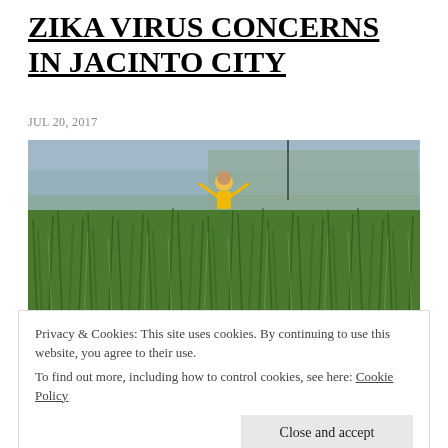ZIKA VIRUS CONCERNS IN JACINTO CITY
JUL 20, 2017
[Figure (photo): Person in yellow shirt standing with arms raised in a field of tall green vegetation/grass, with a building visible in the background]
Privacy & Cookies: This site uses cookies. By continuing to use this website, you agree to their use.
To find out more, including how to control cookies, see here: Cookie Policy
[Close and accept button]
Jacinto City, TX – Thursday, July 19, 2017 at the